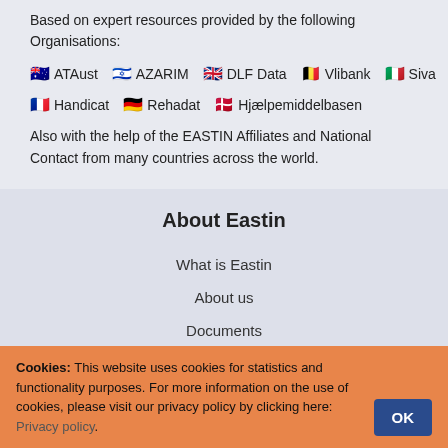Based on expert resources provided by the following Organisations:
🇦🇺 ATAust  🇮🇱 AZARIM  🇬🇧 DLF Data  🇧🇪 Vlibank  🇮🇹 Siva
🇫🇷 Handicat  🇩🇪 Rehadat  🇩🇰 Hjælpemiddelbasen
Also with the help of the EASTIN Affiliates and National Contact from many countries across the world.
About Eastin
What is Eastin
About us
Documents
GATE Community
Cookies: This website uses cookies for statistics and functionality purposes. For more information on the use of cookies, please visit our privacy policy by clicking here: Privacy policy.